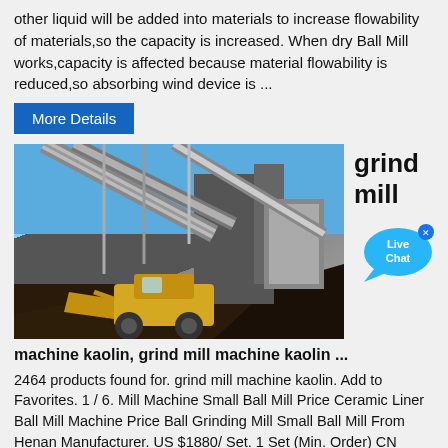other liquid will be added into materials to increase flowability of materials,so the capacity is increased. When dry Ball Mill works,capacity is affected because material flowability is reduced,so absorbing wind device is ...
More Details
[Figure (photo): Industrial mining facility with conveyor belts, large machinery, and a front-end loader/bulldozer moving material at a quarry or aggregate plant.]
grind mill
[Figure (infographic): Live Chat speech bubble icon in blue with white text reading 'Live Chat' and a small close X button.]
machine kaolin, grind mill machine kaolin ...
2464 products found for. grind mill machine kaolin. Add to Favorites. 1 / 6. Mill Machine Small Ball Mill Price Ceramic Liner Ball Mill Machine Price Ball Grinding Mill Small Ball Mill From Henan Manufacturer. US $1880/ Set. 1 Set (Min. Order) CN Henan Xingyang Mining Machinery Manufactory. 12 YRS.
More Details